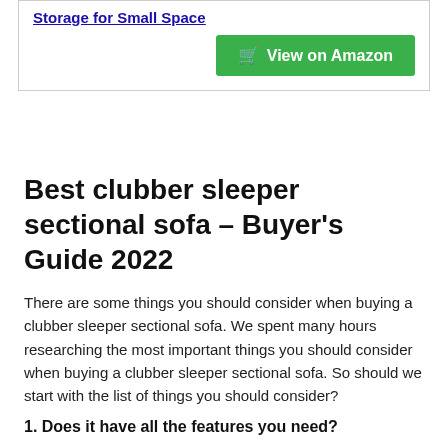Storage for Small Space
View on Amazon
Best clubber sleeper sectional sofa – Buyer's Guide 2022
There are some things you should consider when buying a clubber sleeper sectional sofa. We spent many hours researching the most important things you should consider when buying a clubber sleeper sectional sofa. So should we start with the list of things you should consider?
1. Does it have all the features you need?
Most importantly, the clubber sleeper sectional sofa you are purchasing should have all the features you are looking for. In case you don't even have one, don't buy! We are saying this because you will not be able to use it for that purpose